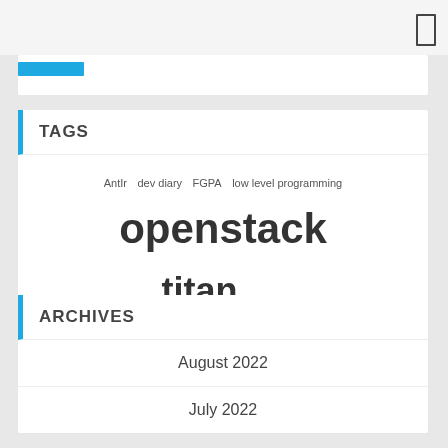TAGS
AntIr  dev diary  FGPA  low level programming  openstack  titan  vmware
ARCHIVES
August 2022
July 2022